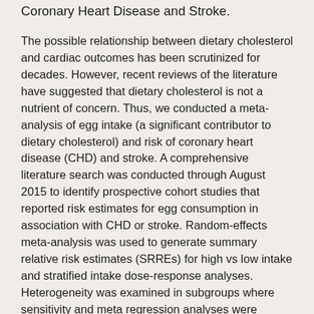Coronary Heart Disease and Stroke.
The possible relationship between dietary cholesterol and cardiac outcomes has been scrutinized for decades. However, recent reviews of the literature have suggested that dietary cholesterol is not a nutrient of concern. Thus, we conducted a meta-analysis of egg intake (a significant contributor to dietary cholesterol) and risk of coronary heart disease (CHD) and stroke. A comprehensive literature search was conducted through August 2015 to identify prospective cohort studies that reported risk estimates for egg consumption in association with CHD or stroke. Random-effects meta-analysis was used to generate summary relative risk estimates (SRREs) for high vs low intake and stratified intake dose-response analyses. Heterogeneity was examined in subgroups where sensitivity and meta regression analyses were conducted based on increasing egg intake. A 12% decreased risk (SRRE = 0.88, 95% confidence interval [CI], 0.81-0.97) of stroke was observed in the meta-analysis of 7 studies of egg intake (high vs low; generally 1/d vs <2/wk), with little heterogeneity (p-H